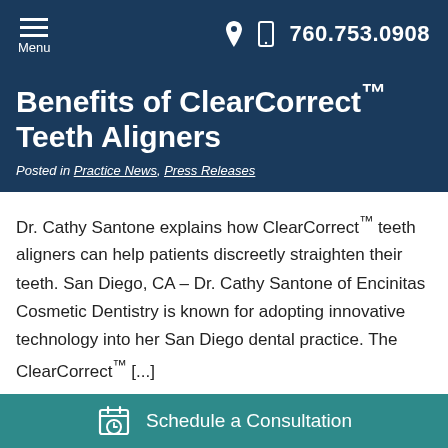Menu  760.753.0908
Benefits of ClearCorrect™ Teeth Aligners
Posted in Practice News, Press Releases
Dr. Cathy Santone explains how ClearCorrect™ teeth aligners can help patients discreetly straighten their teeth. San Diego, CA – Dr. Cathy Santone of Encinitas Cosmetic Dentistry is known for adopting innovative technology into her San Diego dental practice. The ClearCorrect™ [...]
Continue Reading
Schedule a Consultation